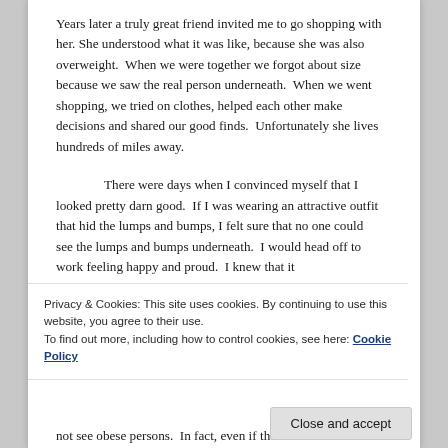Years later a truly great friend invited me to go shopping with her. She understood what it was like, because she was also overweight.  When we were together we forgot about size because we saw the real person underneath.  When we went shopping, we tried on clothes, helped each other make decisions and shared our good finds.  Unfortunately she lives hundreds of miles away.
There were days when I convinced myself that I looked pretty darn good.  If I was wearing an attractive outfit that hid the lumps and bumps, I felt sure that no one could see the lumps and bumps underneath.  I would head off to work feeling happy and proud.  I knew that it
Privacy & Cookies: This site uses cookies. By continuing to use this website, you agree to their use.
To find out more, including how to control cookies, see here: Cookie Policy
Close and accept
not see obese persons.  In fact, even if there is an